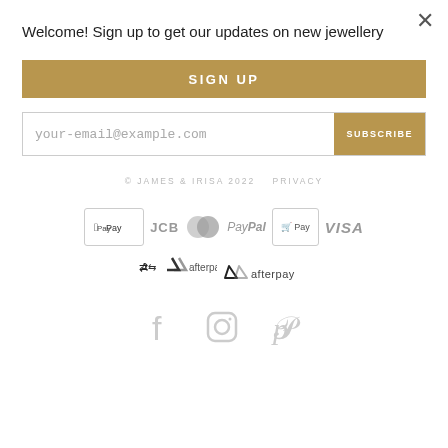×
Welcome! Sign up to get our updates on new jewellery
SIGN UP
your-email@example.com
SUBSCRIBE
© JAMES & IRISA 2022   PRIVACY
[Figure (other): Payment method logos: Apple Pay, JCB, MasterCard, PayPal, Shop Pay, VISA]
[Figure (logo): Afterpay logo]
[Figure (other): Social media icons: Facebook, Instagram, Pinterest]